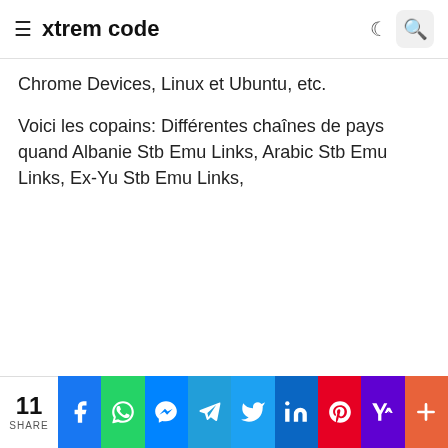≡ xtrem code
Chrome Devices, Linux et Ubuntu, etc.
Voici les copains: Différentes chaînes de pays quand Albanie Stb Emu Links, Arabic Stb Emu Links, Ex-Yu Stb Emu Links,
11 SHARE | Facebook | WhatsApp | Messenger | Telegram | Twitter | LinkedIn | Pinterest | Yahoo | More